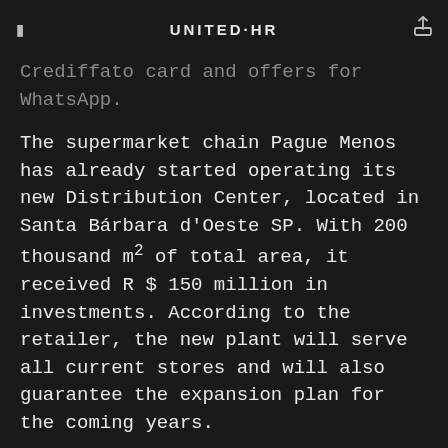UNITED·HR
which includes features such as inserts and videos of offers to the Crediffato card and offers for WhatsApp.
The supermarket chain Pague Menos has already started operating its new Distribution Center, located in Santa Bárbara d'Oeste SP. With 200 thousand m² of total area, it received R $ 150 million in investments. According to the retailer, the new plant will serve all current stores and will also guarantee the expansion plan for the coming years.
The owner of Frigorífico Gold Carnes, Leonice Oliveira, informed that she will invest R $ 56 million in the construction of a slaughter unit, with an initial forecast of